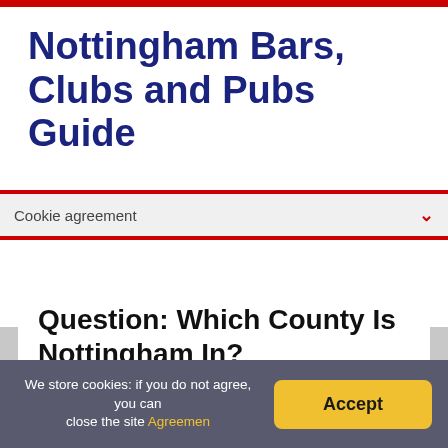Nottingham Bars, Clubs and Pubs Guide
Cookie agreement
Question: Which County Is Nottingham In?
John Porter   Nottingham   No Comments
We store cookies: if you do not agree, you can close the site Agreemen